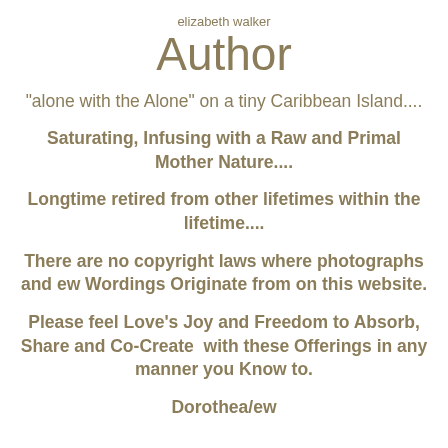elizabeth walker
Author
“alone with the Alone” on a tiny Caribbean Island....
Saturating, Infusing with a Raw and Primal Mother Nature....
Longtime retired from other lifetimes within the lifetime....
There are no copyright laws where photographs and ew Wordings Originate from on this website.
Please feel Love’s Joy and Freedom to Absorb, Share and Co-Create  with these Offerings in any manner you Know to.
Dorothea/ew